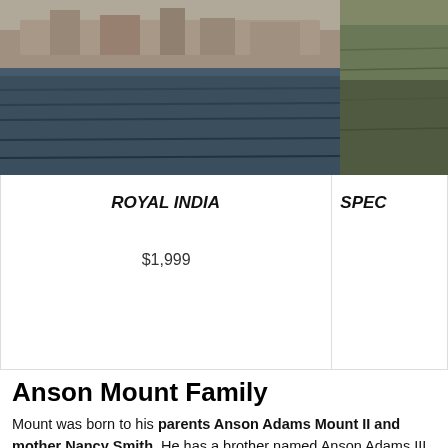[Figure (photo): Photograph of a palace or building by a large body of water (lake), likely in India, with a green landscape/hillside on the right side]
| ROYAL INDIA | SPEC |
| --- | --- |
| $1,999 |  |
Anson Mount Family
Mount was born to his parents Anson Adams Mount II and mother Nancy Smith. He has a brother named Anson Adams III and two sisters namely Kristin Mount and Elizabeth Mount.
Anson Mount Height, Weight
Mount stands at an approximate height of 6 feet 1 inch (1.85 m) tall and weighs approximately 87 Kg (192 lbs). In addition, her waist size is 34 inches, and has a blue eye color